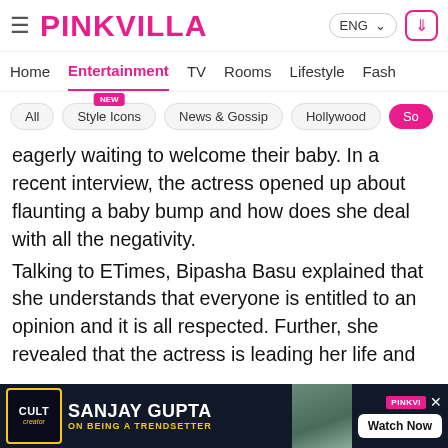PINKVILLA — ENG — header navigation
Home | Entertainment | TV | Rooms | Lifestyle | Fash
All | Style Icons (NEW) | News & Gossip | Hollywood | So
eagerly waiting to welcome their baby. In a recent interview, the actress opened up about flaunting a baby bump and how does she deal with all the negativity.
Talking to ETimes, Bipasha Basu explained that she understands that everyone is entitled to an opinion and it is all respected. Further, she revealed that the actress is leading her life and
[Figure (screenshot): Social share icons: WhatsApp (green), Facebook (blue), Twitter (light blue), Chat/comments (pink)]
[Figure (screenshot): Advertisement banner: CULT creator logo, SANJAY GUPTA ON BEING A TRENDSETTER, Watch Now button, PINKVILLA branding]